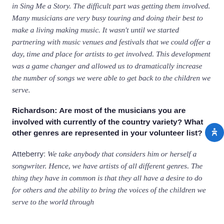in Sing Me a Story. The difficult part was getting them involved. Many musicians are very busy touring and doing their best to make a living making music. It wasn't until we started partnering with music venues and festivals that we could offer a day, time and place for artists to get involved. This development was a game changer and allowed us to dramatically increase the number of songs we were able to get back to the children we serve.
Richardson: Are most of the musicians you are involved with currently of the country variety? What other genres are represented in your volunteer list?
Atteberry: We take anybody that considers him or herself a songwriter. Hence, we have artists of all different genres. The thing they have in common is that they all have a desire to do for others and the ability to bring the voices of the children we serve to the world through